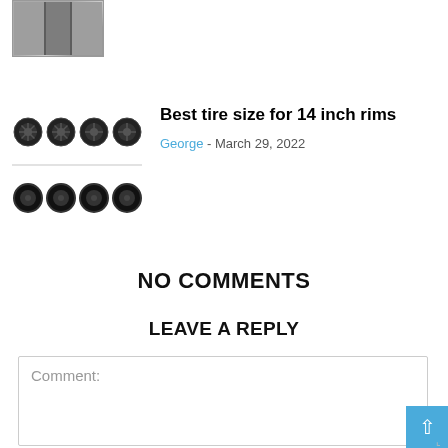[Figure (photo): A small thumbnail image of what appears to be a door or panel, shown in grayscale at the top left of the page.]
[Figure (photo): A grid of 8 images showing various wheel rims (top row) and large off-road/tractor tires (bottom row), displayed as thumbnails in a 4x2 grid.]
Best tire size for 14 inch rims
George - March 29, 2022
NO COMMENTS
LEAVE A REPLY
Comment: